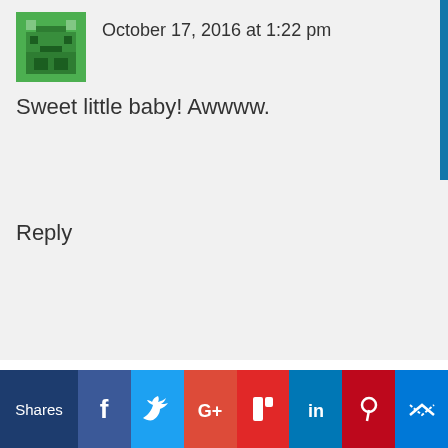October 17, 2016 at 1:22 pm
Sweet little baby! Awwww.
Reply
Kristen Miller Hewitt says
October 17, 2016 at 5:28 pm
We use cookies on our website to give you the most relevant experience by remembering your preferences and repeat visits. By clicking “Accept All”, you consent to the use of ALL the cookies. However, you may visit "Cookie Settings" to provide a controlled consent.
Shares